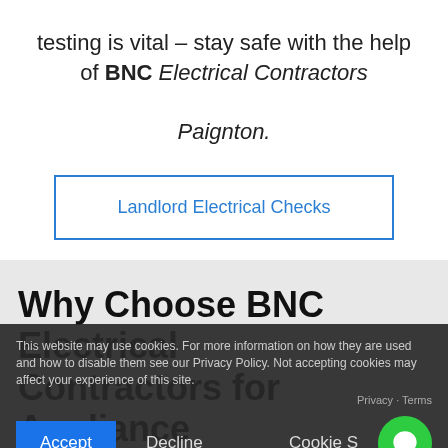testing is vital – stay safe with the help of BNC Electrical Contractors Paignton.
Landlord Electrical Checks
Why Choose BNC Electrical Contractors for Appliance Testing?
We believe that electrical safety is extrem... appliance te...
This website may use cookies. For more information on how they are used and how to disable them see our Privacy Policy. Not accepting cookies may affect your experience of this site.
Privacy · Terms
Accept | Decline | Cookie S...